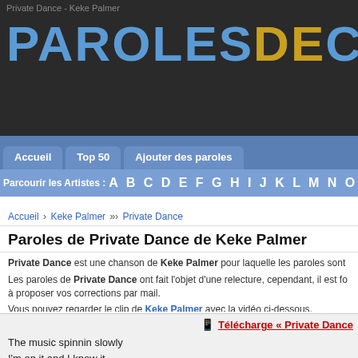Private Dance - Keke Palmer
[Figure (logo): ParolesDeClip logo in large bold letters, 'PAROLES' and 'CLIP' in blue, 'DE' in gold, '.fr' in gray, on dark background]
Accueil   Top 50   Ajouter des paroles
Parcourir les Artistes : A B C D E F G H I J K L M N O P Q
Accueil › Keke Palmer »› Private Dance
Paroles de Private Dance de Keke Palmer
Private Dance est une chanson de Keke Palmer pour laquelle les paroles sont
Les paroles de Private Dance ont fait l'objet d'une relecture, cependant, il est fo à proposer vos corrections par mail.
Vous pouvez regarder le clip de Keke Palmer avec la vidéo ci-dessous.
📱 Télécharge « Private Dance
The music spinnin slowly
I'm on it and I know it